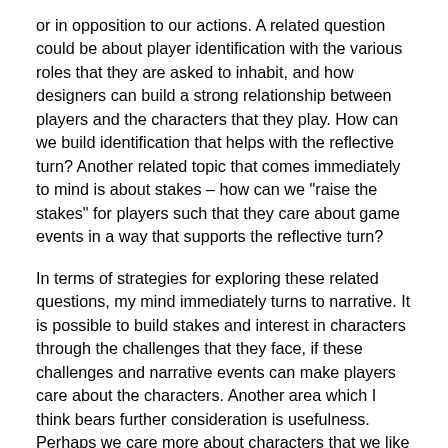or in opposition to our actions. A related question could be about player identification with the various roles that they are asked to inhabit, and how designers can build a strong relationship between players and the characters that they play. How can we build identification that helps with the reflective turn? Another related topic that comes immediately to mind is about stakes – how can we "raise the stakes" for players such that they care about game events in a way that supports the reflective turn?
In terms of strategies for exploring these related questions, my mind immediately turns to narrative. It is possible to build stakes and interest in characters through the challenges that they face, if these challenges and narrative events can make players care about the characters. Another area which I think bears further consideration is usefulness. Perhaps we care more about characters that we like from a narrative standpoint, but that are also useful to us. Thinking back to the archetypal character death of Aeris in Final Fantasy VII, while I did choose Aeris as a love interest for Cloud, I had invested time building her skills as a healer partially because I found her to be less obnoxious than some of the other characters, and that investment made her